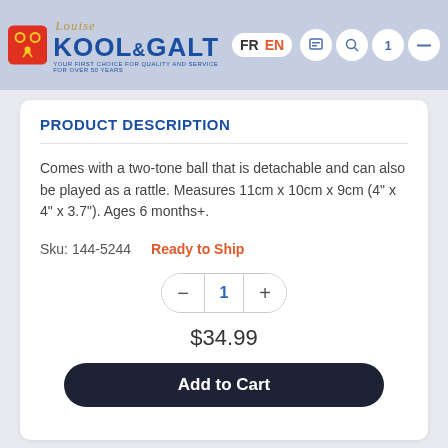[Figure (logo): Kool & Galt logo with red icon box, Louise script text, blue KOOL&GALT text, tagline 'YOUR FIRST CHOICE FOR QUALITY AND SERVICE FOR OVER 50 YEARS', FR/EN language toggle, and navigation icons]
PRODUCT DESCRIPTION
Comes with a two-tone ball that is detachable and can also be played as a rattle. Measures 11cm x 10cm x 9cm (4" x 4" x 3.7"). Ages 6 months+.
Sku: 144-5244    Ready to Ship
1
$34.99
Add to Cart